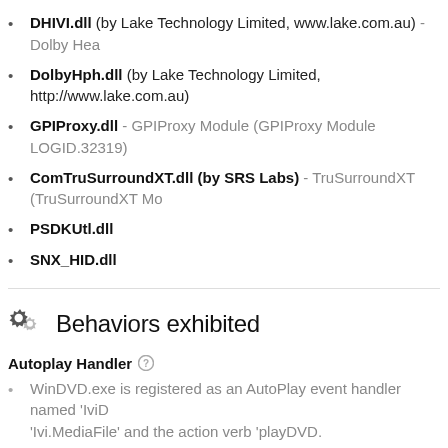DHIVI.dll (by Lake Technology Limited, www.lake.com.au) - Dolby Hea
DolbyHph.dll (by Lake Technology Limited, http://www.lake.com.au)
GPIProxy.dll - GPIProxy Module (GPIProxy Module LOGID.32319)
ComTruSurroundXT.dll (by SRS Labs) - TruSurroundXT (TruSurroundXT Mo
PSDKUtl.dll
SNX_HID.dll
Behaviors exhibited
Autoplay Handler
WinDVD.exe is registered as an AutoPlay event handler named 'IviD... 'Ivi.MediaFile' and the action verb 'playDVD.
How do I remove InterVideo WinDVD Player?
You can uninstall InterVideo WinDVD Player from your computer by